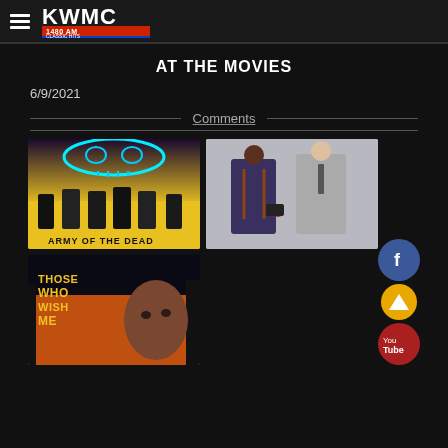KWMC 1480 AM Classic Hits
AT THE MOVIES
6/9/2021
Comments
[Figure (photo): Army of the Dead movie poster - group of people in front of neon skull]
[Figure (photo): Spiral movie still - two men, one Black man in suspenders holding evidence]
[Figure (photo): Those Who Wish Me Dead movie poster - partial text visible]